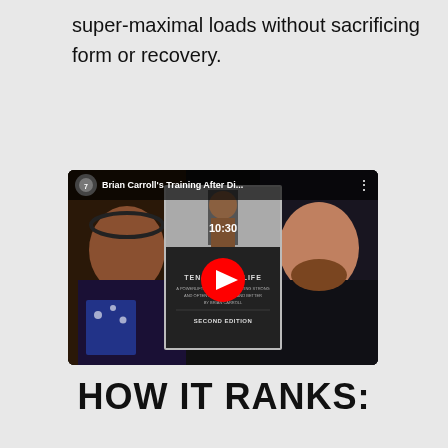super-maximal loads without sacrificing form or recovery.
[Figure (screenshot): YouTube video thumbnail showing two men talking, with a book cover overlay for 'Brian Carroll's Training After Di...' (Ten/Twenty/Life, Second Edition). A red YouTube play button is centered on the book cover.]
HOW IT RANKS: